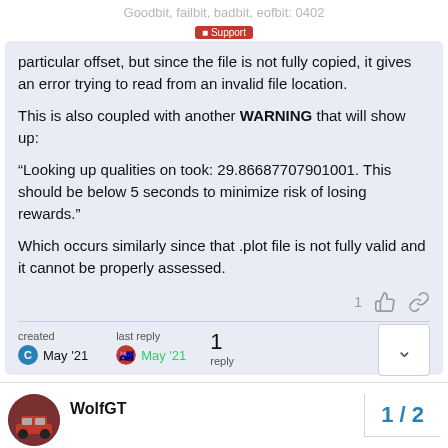Goodbit, failbit, badbit, eofbit: 0402
Support
particular offset, but since the file is not fully copied, it gives an error trying to read from an invalid file location.
This is also coupled with another WARNING that will show up:
“Looking up qualities on took: 29.86687707901001. This should be below 5 seconds to minimize risk of losing rewards.”
Which occurs similarly since that .plot file is not fully valid and it cannot be properly assessed.
created
May ’21
last reply
May ’21
1
reply
WolfGT
1 / 2